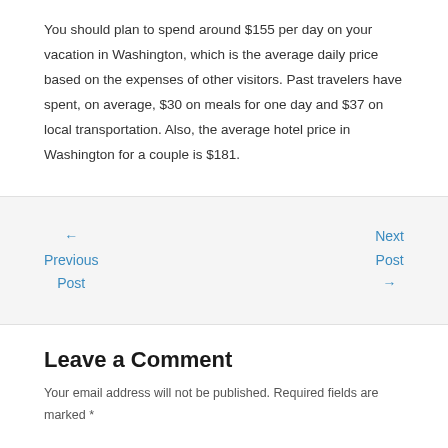You should plan to spend around $155 per day on your vacation in Washington, which is the average daily price based on the expenses of other visitors. Past travelers have spent, on average, $30 on meals for one day and $37 on local transportation. Also, the average hotel price in Washington for a couple is $181.
← Previous Post
Next Post →
Leave a Comment
Your email address will not be published. Required fields are marked *